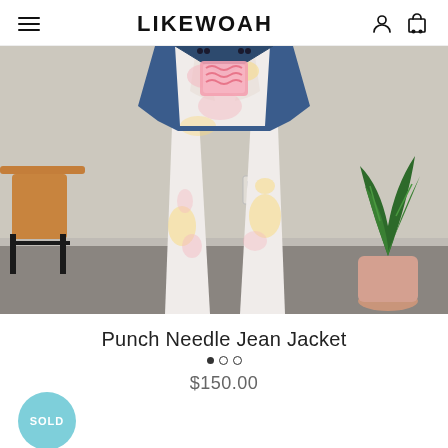LIKE WOAH
[Figure (photo): Person facing away from camera wearing white tie-dye jeans with pastel pink and yellow splotches and a denim jacket with a pink punch needle patch on the back. A wooden chair is visible on the left and a snake plant in a pot on the right. Room has light grey walls and dark carpet floor.]
Punch Needle Jean Jacket
$150.00
SOLD